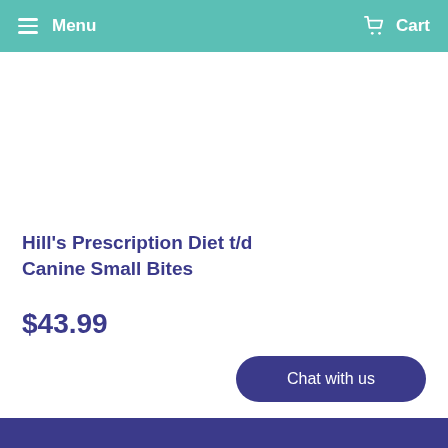Menu   Cart
Hill's Prescription Diet t/d Canine Small Bites
$43.99
Chat with us